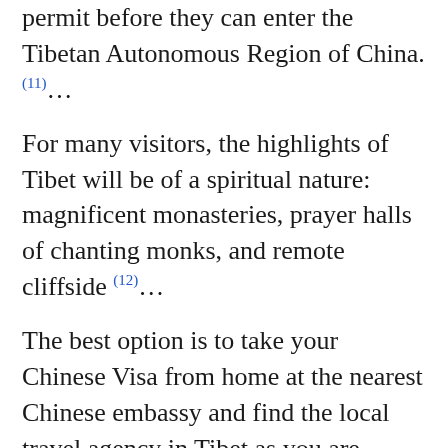permit before they can enter the Tibetan Autonomous Region of China.(11)…
For many visitors, the highlights of Tibet will be of a spiritual nature: magnificent monasteries, prayer halls of chanting monks, and remote cliffside (12)…
The best option is to take your Chinese Visa from home at the nearest Chinese embassy and find the local travel agency in Tibet as you are traveling to Tibet.Language: Official: Mandarin, TibetanCurrency: Chinese yuan (¥, CNY)Capital: Lhasa(13)